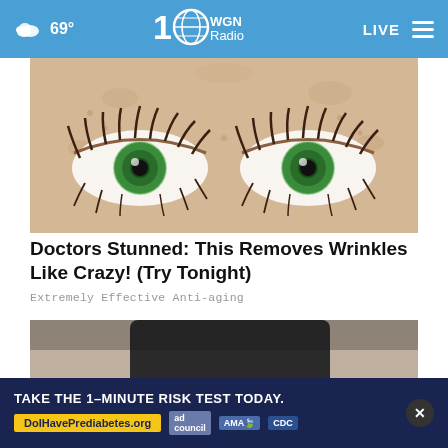69° WGN Radio LIVE
[Figure (illustration): Illustrated cartoon-style close-up of wide eyes with dramatic eyelashes and green irises on a beige/tan face background]
Doctors Stunned: This Removes Wrinkles Like Crazy! (Try Tonight)
Extremely Effective Anti-aging
[Figure (photo): Photo of hands pulling apart something white/taffy-like with an orange package visible, person wearing dark clothing]
TAKE THE 1-MINUTE RISK TEST TODAY.
DoIHavePrediabetes.org
ad council  AMA  CDC